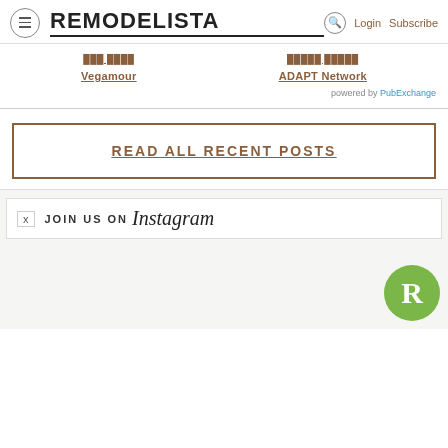REMODELISTA  Login  Subscribe
Vegamour
ADAPT Network
powered by PubExchange
READ ALL RECENT POSTS
JOIN US ON Instagram
[Figure (logo): Green circular badge with white letter R, Remodelista logo]